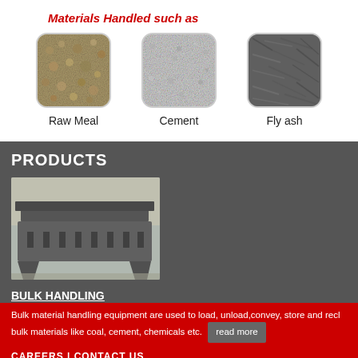Materials Handled such as
[Figure (photo): Raw Meal material - granular brownish aggregate texture]
Raw Meal
[Figure (photo): Cement material - fine grey powder texture]
Cement
[Figure (photo): Fly ash material - dark fibrous/metallic texture]
Fly ash
PRODUCTS
[Figure (photo): Bulk handling industrial machine in factory setting - large grey metal conveyor/feeder equipment]
BULK HANDLING
Bulk material handling equipment are used to load, unload,convey, store and recl bulk materials like coal, cement, chemicals etc.
read more
CAREERS | CONTACT US